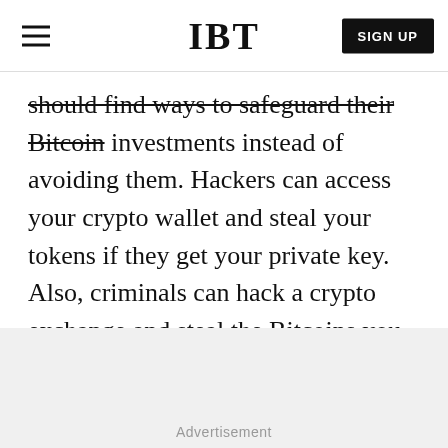IBT
should find ways to safeguard their Bitcoin investments instead of avoiding them. Hackers can access your crypto wallet and steal your tokens if they get your private key. Also, criminals can hack a crypto exchange and steal the Bitcoins you may have in your account.
Advertisement